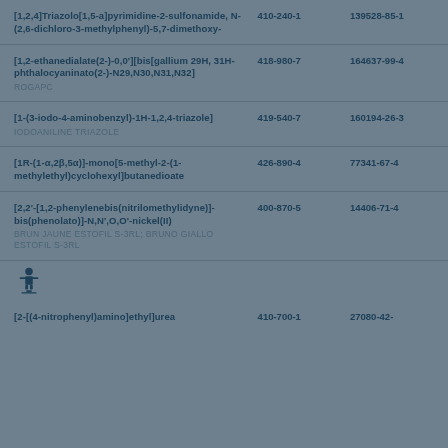| Name | EC Number | CAS Number |
| --- | --- | --- |
| [1,2,4]Triazolo[1,5-a]pyrimidine-2-sulfonamide, N-(2,6-dichloro-3-methylphenyl)-5,7-dimethoxy- | 410-240-1 | 139528-85-1 |
| [1,2-ethanedialate(2-)-0,0'][bis[gallium 29H, 31H-phthalocyaninato(2-)-N29,N30,N31,N32] | ROGAPC | 418-980-7 | 164637-99-4 |
| [1-(3-iodo-4-aminobenzyl)-1H-1,2,4-triazole] | IODOANILINE TRIAZOLE | 419-540-7 | 160194-26-3 |
| [1R-(1-α,2β,5α)]-mono[5-methyl-2-(1-methylethyl)cyclohexyl]butanedioate | 426-890-4 | 77341-67-4 |
| [2,2'-[1,2-phenylenebis(nitrilomethylidyne)]-bis(phenolato)]-N,N',O,O'-nickel(II) | BRUN JAUNE ESTOFIL S-3RL; BRUNO GIALLO ESTOFIL S-3RL | 400-870-5 | 14406-71-4 |
| [2-[(4-nitrophenyl)amino]ethyl]urea | 410-700-1 | 27080-42- |